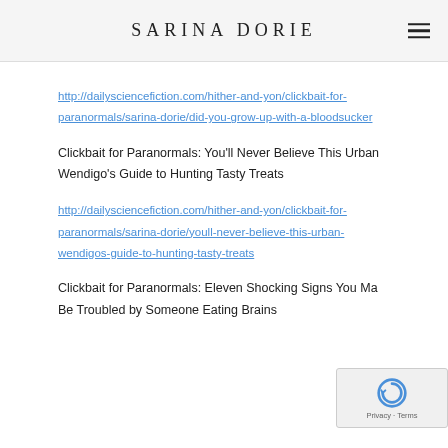SARINA DORIE
http://dailysciencefiction.com/hither-and-yon/clickbait-for-paranormals/sarina-dorie/did-you-grow-up-with-a-bloodsucker
Clickbait for Paranormals: You’ll Never Believe This Urban Wendigo’s Guide to Hunting Tasty Treats
http://dailysciencefiction.com/hither-and-yon/clickbait-for-paranormals/sarina-dorie/youll-never-believe-this-urban-wendigos-guide-to-hunting-tasty-treats
Clickbait for Paranormals: Eleven Shocking Signs You May Be Troubled by Someone Eating Brains